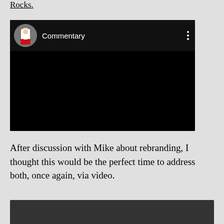Rocks.
[Figure (screenshot): Embedded video player with black background showing channel avatar of a doctor in white coat with stethoscope, channel name 'Commentary', and three-dot menu icon]
After discussion with Mike about rebranding, I thought this would be the perfect time to address both, once again, via video.
[Figure (screenshot): Bottom portion of a second embedded video player with dark background, partially visible]